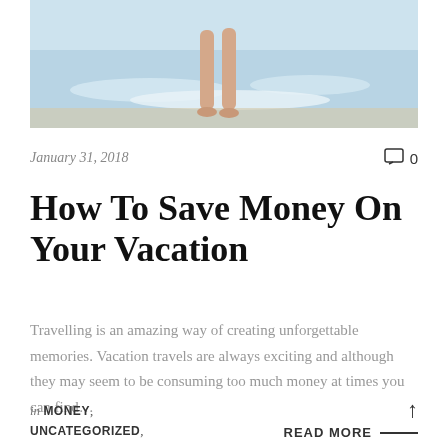[Figure (photo): Photo of person's legs standing in ocean waves at a beach, viewed from behind]
January 31, 2018
0
How To Save Money On Your Vacation
Travelling is an amazing way of creating unforgettable memories. Vacation travels are always exciting and although they may seem to be consuming too much money at times you can find…
in MONEY, UNCATEGORIZED,
READ MORE